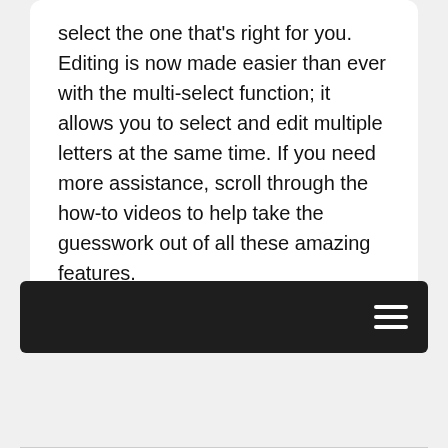select the one that's right for you. Editing is now made easier than ever with the multi-select function; it allows you to select and edit multiple letters at the same time. If you need more assistance, scroll through the how-to videos to help take the guesswork out of all these amazing features.
Compatible With XP1
[Figure (screenshot): Dark navigation bar with hamburger menu icon on the right]